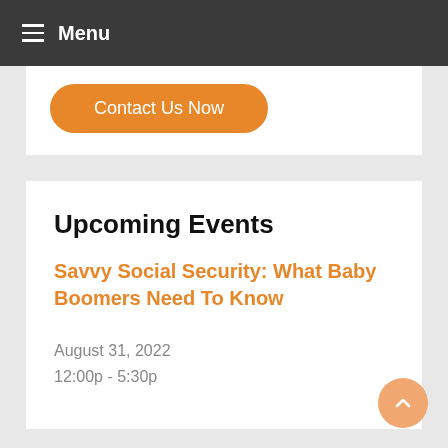Menu
[Figure (other): Orange 'Contact Us Now' button with rounded corners]
Upcoming Events
Savvy Social Security: What Baby Boomers Need To Know
August 31, 2022
12:00p - 5:30p